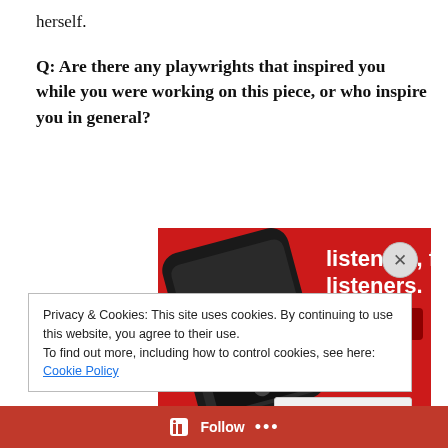herself.
Q: Are there any playwrights that inspired you while you were working on this piece, or who inspire you in general?
[Figure (photo): Advertisement image on red background showing a smartphone with 'Dis-trib-uted' podcast app displayed, with text 'listeners, for listeners.' and a 'Download now' button]
Privacy & Cookies: This site uses cookies. By continuing to use this website, you agree to their use.
To find out more, including how to control cookies, see here: Cookie Policy
Close and accept
Follow ...